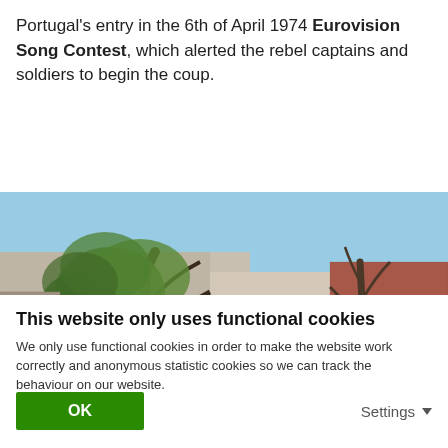Portugal's entry in the 6th of April 1974 Eurovision Song Contest, which alerted the rebel captains and soldiers to begin the coup.
[Figure (photo): Outdoor photo showing trees with green foliage in front of old stone/brick buildings. A large arched structure is visible in the lower center. Blue sky visible in the background.]
This website only uses functional cookies
We only use functional cookies in order to make the website work correctly and anonymous statistic cookies so we can track the behaviour on our website.